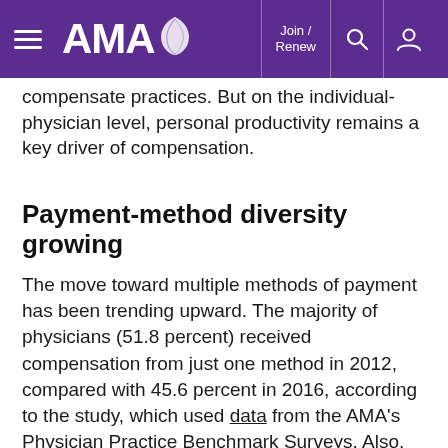AMA | Join / Renew | Search | User
compensate practices. But on the individual-physician level, personal productivity remains a key driver of compensation.
Payment-method diversity growing
The move toward multiple methods of payment has been trending upward. The majority of physicians (51.8 percent) received compensation from just one method in 2012, compared with 45.6 percent in 2016, according to the study, which used data from the AMA's Physician Practice Benchmark Surveys. Also, only 4.7 percent of physicians received compensation via